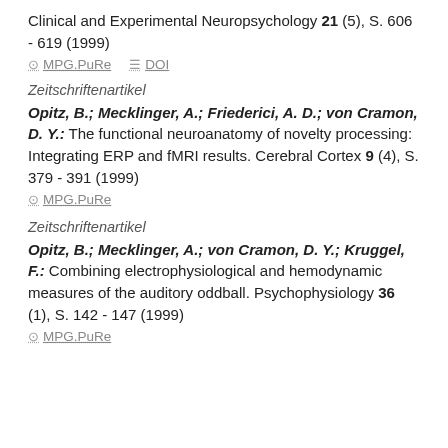Clinical and Experimental Neuropsychology 21 (5), S. 606 - 619 (1999)
MPG.PuRe   DOI
Zeitschriftenartikel
Opitz, B.; Mecklinger, A.; Friederici, A. D.; von Cramon, D. Y.: The functional neuroanatomy of novelty processing: Integrating ERP and fMRI results. Cerebral Cortex 9 (4), S. 379 - 391 (1999)
MPG.PuRe
Zeitschriftenartikel
Opitz, B.; Mecklinger, A.; von Cramon, D. Y.; Kruggel, F.: Combining electrophysiological and hemodynamic measures of the auditory oddball. Psychophysiology 36 (1), S. 142 - 147 (1999)
MPG.PuRe